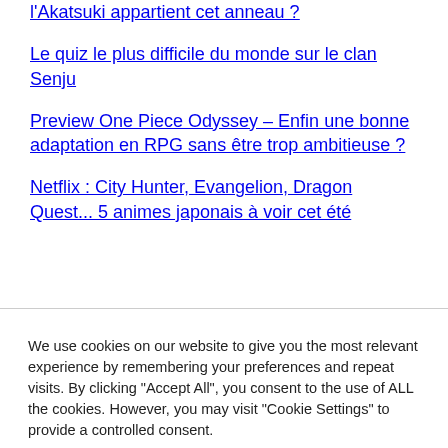l'Akatsuki appartient cet anneau ?
Le quiz le plus difficile du monde sur le clan Senju
Preview One Piece Odyssey – Enfin une bonne adaptation en RPG sans être trop ambitieuse ?
Netflix : City Hunter, Evangelion, Dragon Quest... 5 animes japonais à voir cet été
We use cookies on our website to give you the most relevant experience by remembering your preferences and repeat visits. By clicking "Accept All", you consent to the use of ALL the cookies. However, you may visit "Cookie Settings" to provide a controlled consent.
Cookie Settings | Accept All